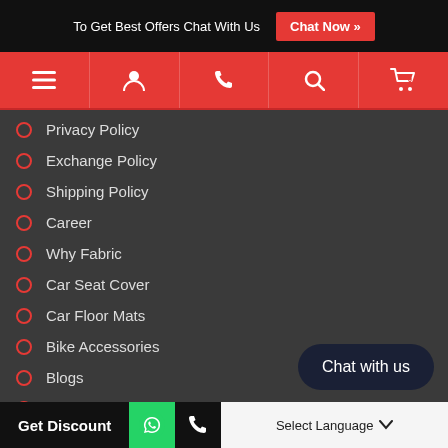To Get Best Offers Chat With Us  Chat Now »
[Figure (screenshot): Red navigation bar with icons: hamburger menu, user, phone, search, cart (0)]
Privacy Policy
Exchange Policy
Shipping Policy
Career
Why Fabric
Car Seat Cover
Car Floor Mats
Bike Accessories
Blogs
Video Gallery
Pitstop Subscription
Retail Network
Partner Brands
Media Centre
Chat with us
Get Discount   [WhatsApp]  [Phone]  Select Language ▾